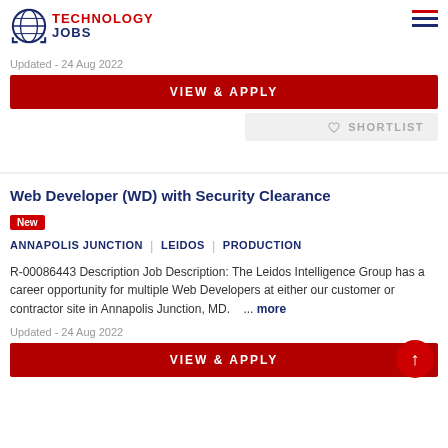TECHNOLOGY JOBS
Updated - 24 Aug 2022
VIEW & APPLY
♡ SHORTLIST
Web Developer (WD) with Security Clearance
New
ANNAPOLIS JUNCTION | LEIDOS | PRODUCTION
R-00086443 Description Job Description: The Leidos Intelligence Group has a career opportunity for multiple Web Developers at either our customer or contractor site in Annapolis Junction, MD.    ... more
Updated - 24 Aug 2022
VIEW & APPLY